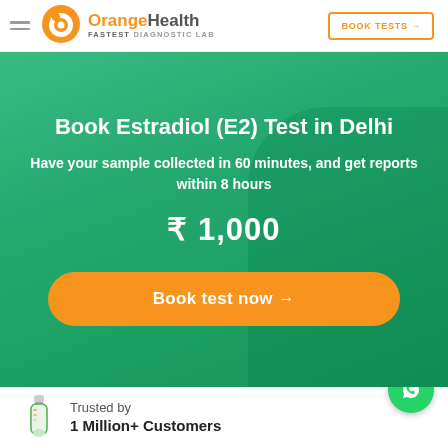[Figure (logo): OrangeHealth logo with orange circle icon and text 'OrangeHealth FASTEST DIAGNOSTIC LAB']
BOOK TESTS →
Book Estradiol (E2) Test in Delhi
Have your sample collected in 60 minutes, and get reports within 8 hours
₹ 1,000
Book test now →
[Figure (illustration): Test tube / diagnostic vial illustration]
Trusted by
1 Million+ Customers